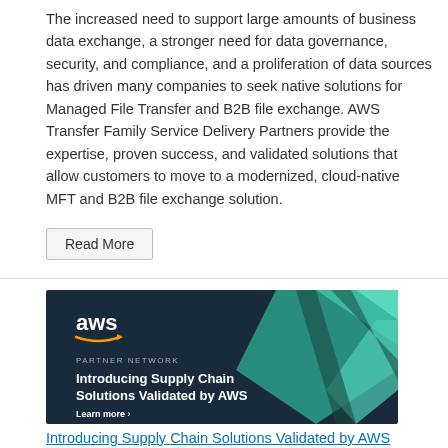The increased need to support large amounts of business data exchange, a stronger need for data governance, security, and compliance, and a proliferation of data sources has driven many companies to seek native solutions for Managed File Transfer and B2B file exchange. AWS Transfer Family Service Delivery Partners provide the expertise, proven success, and validated solutions that allow customers to move to a modernized, cloud-native MFT and B2B file exchange solution.
Read More
[Figure (illustration): AWS Partner Network banner image with dark blue background and geometric teal/green shapes. Shows AWS logo, 'PARTNER NETWORK' text, 'Introducing Supply Chain Solutions Validated by AWS' heading, and 'Learn more >' link.]
Introducing Supply Chain Solutions Validated by AWS